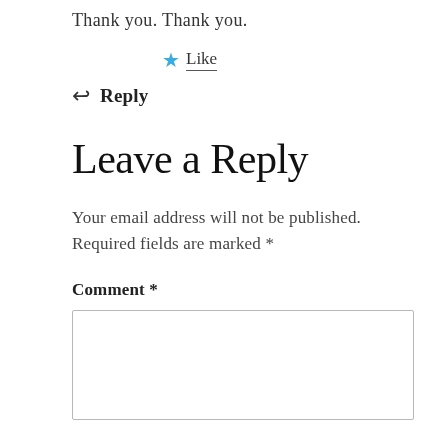Thank you. Thank you.
★ Like
↩ Reply
Leave a Reply
Your email address will not be published. Required fields are marked *
Comment *